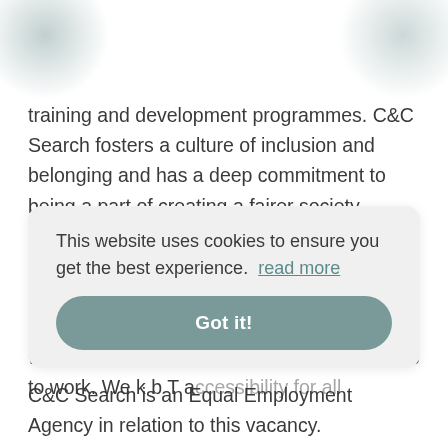training and development programmes. C&C Search fosters a culture of inclusion and belonging and has a deep commitment to being a part of creating a fairer society through partnering with clients who are also committed to a seat at the table for everybody. We work with companies that are committed to reflecting our communities, where people can bring their authentic selves to work. We k... b... T... a...ccessibility for all...
This website uses cookies to ensure you get the best experience.  read more
Got it!
C&C Search is an Equal Employment Agency in relation to this vacancy.